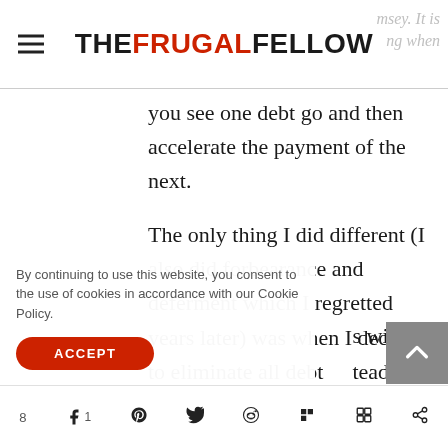THE FRUGAL FELLOW
Ramsey. It is psychologically empowering when you see one debt go and then accelerate the payment of the next.
The only thing I did different (I also did forbearance and deferment which I regretted years later) was when I decided to eliminate all debt s with the stead of ve past the has the
By continuing to use this website, you consent to the use of cookies in accordance with our Cookie Policy.
ACCEPT